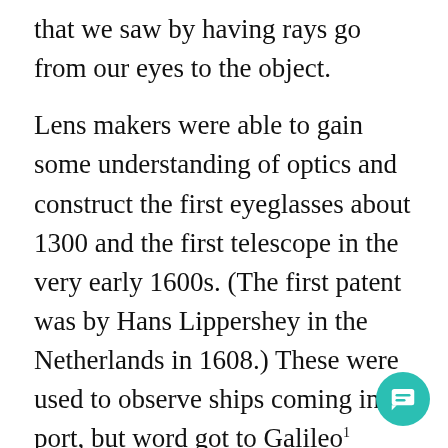that we saw by having rays go from our eyes to the object.
Lens makers were able to gain some understanding of optics and construct the first eyeglasses about 1300 and the first telescope in the very early 1600s. (The first patent was by Hans Lippershey in the Netherlands in 1608.) These were used to observe ships coming into port, but word got to Galileo¹ Galilei in Italy. He constructed a much improved version, turned it skyward, and